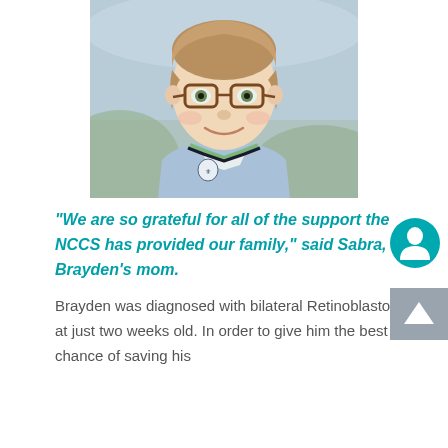[Figure (photo): Portrait photo of a young boy with short brown hair wearing glasses and a light blue sweater vest over a plaid shirt, smiling at the camera with a blurred outdoor background.]
"We are so grateful for all of the support the NCCS has provided our family," said Sabra, Brayden's mom.
Brayden was diagnosed with bilateral Retinoblastoma at just two weeks old. In order to give him the best chance of saving his